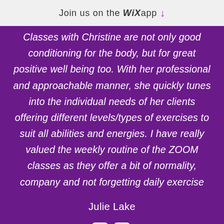Join us on the WiX app
Classes with Christine are not only good conditioning for the body, but for great positive well being too. With her professional and approachable manner, she quickly tunes into the individual needs of her clients offering different levels/types of exercises to suit all abilities and energies. I have really valued the weekly routine of the ZOOM classes as they offer a bit of normality, company and not forgetting daily exercise
Julie Lake
[Figure (illustration): Quotation mark icon in white at bottom of purple section]